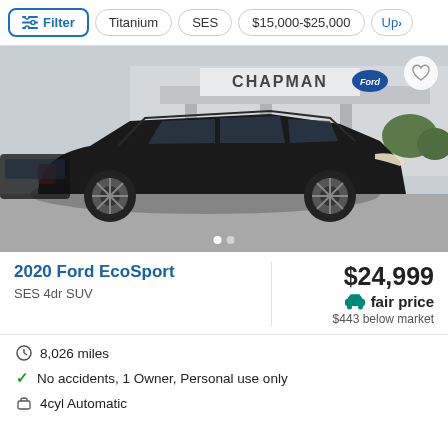Filter | Titanium | SES | $15,000-$25,000 | Up>
[Figure (photo): Black 2020 Ford EcoSport SES SUV photographed in front of Chapman Ford dealership]
2020 Ford EcoSport
SES 4dr SUV
$24,999
fair price
$443 below market
8,026 miles
No accidents, 1 Owner, Personal use only
4cyl Automatic